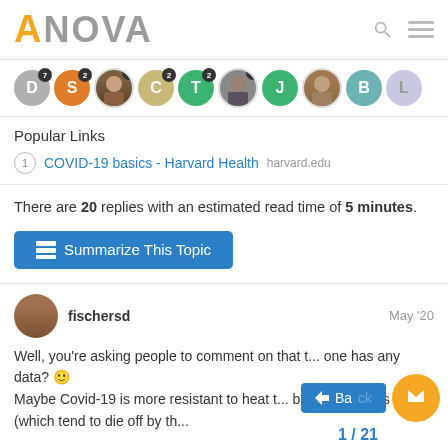ANOVA
[Figure (other): Avatar strip showing user icons with badges: D(7), S(2), photo(2), C(2), T(2), photo(2), J, photo, B, L]
Popular Links
1 COVID-19 basics - Harvard Health harvard.edu
There are 20 replies with an estimated read time of 5 minutes.
Summarize This Topic
fischersd May '20
Well, you're asking people to comment on that t... one has any data? 🙂
Maybe Covid-19 is more resistant to heat t... born pathogens (which tend to die off by th...